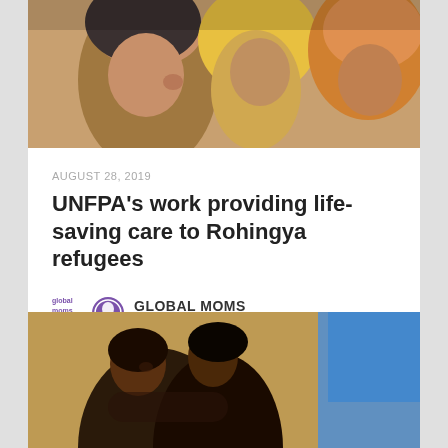[Figure (photo): Close-up photo of women wearing hijabs, one in yellow/orange, in a group setting]
AUGUST 28, 2019
UNFPA's work providing life-saving care to Rohingya refugees
[Figure (logo): Global Moms Challenge logo with purple circular icon]
GLOBAL MOMS CHALLENGE
[Figure (photo): Two African women embracing near a wall, with a blue door visible in the background]